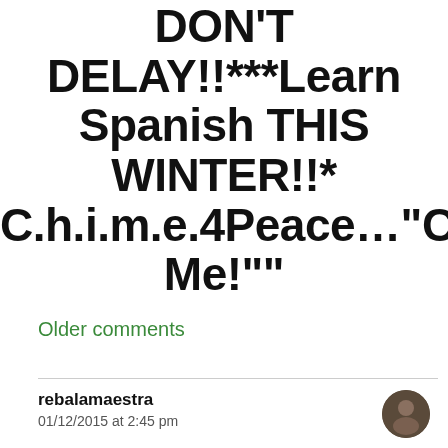DON'T DELAY!!***Learn Spanish THIS WINTER!!* C.h.i.m.e.4Peace…"C.h.i.m.e.2Cry-Me!""
Older comments
rebalamaestra
01/12/2015 at 2:45 pm
Hi Alonzia! Unfortunately, we will not be able to approve your recent comment because you included personal information which is requested on our contact form. Please feel free to register online at any time @